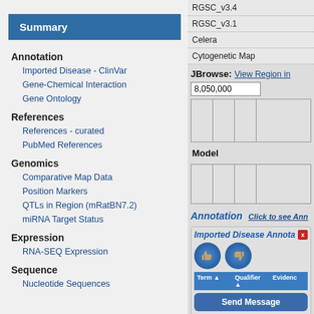Summary
Annotation
Imported Disease - ClinVar
Gene-Chemical Interaction
Gene Ontology
References
References - curated
PubMed References
Genomics
Comparative Map Data
Position Markers
QTLs in Region (mRatBN7.2)
miRNA Target Status
Expression
RNA-SEQ Expression
Sequence
Nucleotide Sequences
RGSC_v3.4
RGSC_v3.1
Celera
Cytogenetic Map
JBrowse:
View Region in
8,050,000
Model
Annotation
Click to see Ann
Imported Disease Annota
Term  Qualifier  Evidenc
Send Message
High
Myopia
ISO